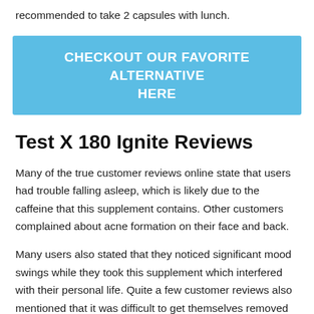recommended to take 2 capsules with lunch.
[Figure (other): Blue CTA button with text: CHECKOUT OUR FAVORITE ALTERNATIVE HERE]
Test X 180 Ignite Reviews
Many of the true customer reviews online state that users had trouble falling asleep, which is likely due to the caffeine that this supplement contains. Other customers complained about acne formation on their face and back.
Many users also stated that they noticed significant mood swings while they took this supplement which interfered with their personal life. Quite a few customer reviews also mentioned that it was difficult to get themselves removed